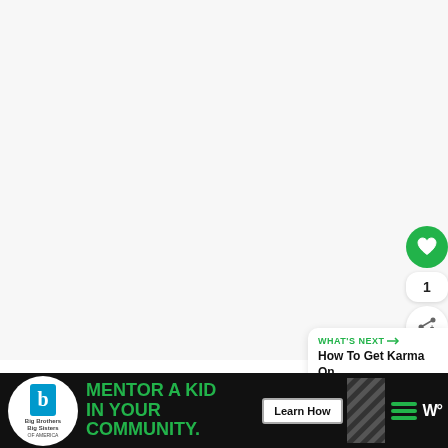[Figure (screenshot): Main content area - mostly white/light gray blank space representing a web page content area]
[Figure (infographic): Green circular heart/like button with white heart icon]
1
[Figure (infographic): White circular share button with share icon and plus sign]
[Figure (infographic): WHAT'S NEXT panel with arrow and title 'How To Get Karma On...']
[Figure (infographic): Dashed blue border box at bottom of content area]
[Figure (infographic): Big Brothers Big Sisters advertisement banner: MENTOR A KID IN YOUR COMMUNITY. Learn How button. Black background with green text.]